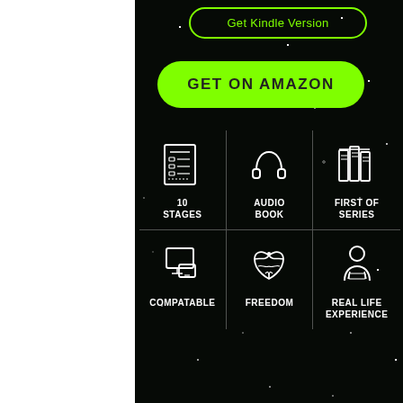[Figure (infographic): Button with outline border reading 'Get Kindle Version' in green on dark background]
[Figure (infographic): Large green filled button reading 'GET ON AMAZON']
[Figure (infographic): 3x2 grid of white icons on dark background: document/list icon labeled '10 STAGES', headphones icon labeled 'AUDIO BOOK', books icon labeled 'FIRST OF SERIES', desktop/tablet icon labeled 'COMPATABLE', dove/bird icon labeled 'FREEDOM', person reading icon labeled 'REAL LIFE EXPERIENCE']